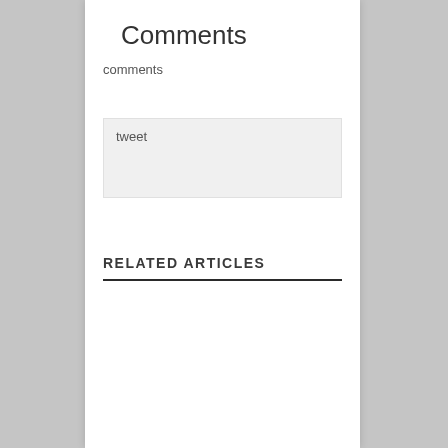Comments
comments
tweet
RELATED ARTICLES